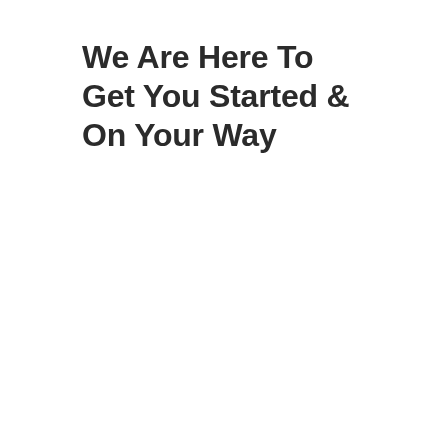We Are Here To Get You Started & On Your Way